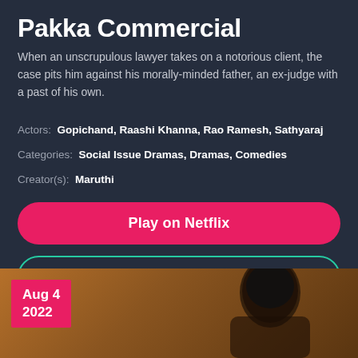Pakka Commercial
When an unscrupulous lawyer takes on a notorious client, the case pits him against his morally-minded father, an ex-judge with a past of his own.
Actors: Gopichand, Raashi Khanna, Rao Ramesh, Sathyaraj
Categories: Social Issue Dramas, Dramas, Comedies
Creator(s): Maruthi
Play on Netflix
More Info
Aug 4
2022